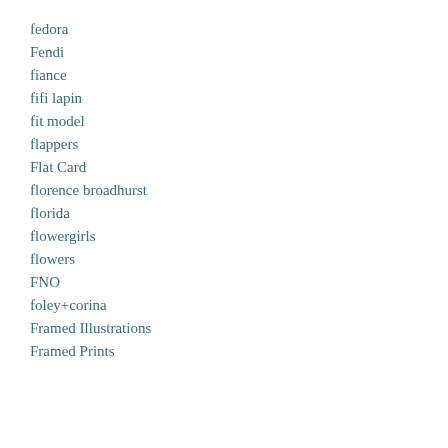fedora
Fendi
fiance
fifi lapin
fit model
flappers
Flat Card
florence broadhurst
florida
flowergirls
flowers
FNO
foley+corina
Framed Illustrations
Framed Prints